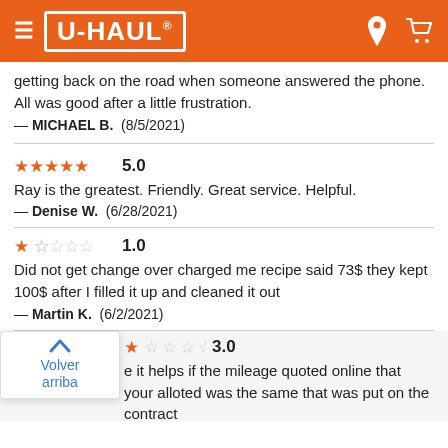U-HAUL
getting back on the road when someone answered the phone. All was good after a little frustration.
— MICHAEL B.  (8/5/2021)
5.0
Ray is the greatest. Friendly. Great service. Helpful.
— Denise W.  (6/28/2021)
1.0
Did not get change over charged me recipe said 73$ they kept 100$ after I filled it up and cleaned it out
— Martin K.  (6/2/2021)
3.0
...e it helps if the mileage quoted online that your alloted was the same that was put on the contract
[Figure (screenshot): Volver arriba back-to-top popup button with blue chevron and text]